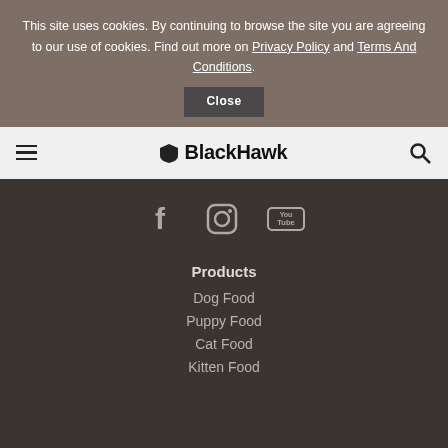This site uses cookies. By continuing to browse the site you are agreeing to our use of cookies. Find out more on Privacy Policy and Terms And Conditions.
Close
[Figure (logo): BlackHawk pet food brand logo with shield icon and hamburger menu and search icon in navigation bar]
[Figure (infographic): Social media icons: Facebook, Instagram, YouTube on dark background]
Products
Dog Food
Puppy Food
Cat Food
Kitten Food